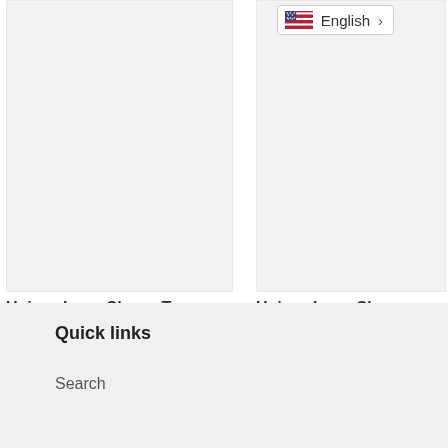[Figure (screenshot): Language selector button showing US flag and 'English' text with a chevron arrow]
[Figure (photo): Product image placeholder for Unisex Long Sleeve Tee KAWELU Kahili]
Unisex Long Sleeve Tee KAWELU Kahili
from $45.00
[Figure (photo): Product image placeholder for Unisex Long Sleeve Tee ALA E]
Unisex Long Sleeve Tee ALA E
from $45.00
[Figure (infographic): Sidebar widget with icons: history (with badge 1), heart/wishlist, shopping cart, bell/notification, WhatsApp, Messenger]
Quick links
Search